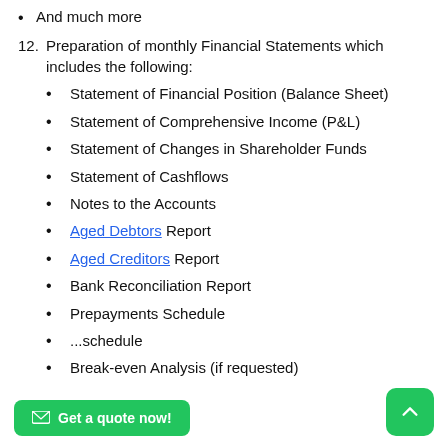And much more
12. Preparation of monthly Financial Statements which includes the following:
Statement of Financial Position (Balance Sheet)
Statement of Comprehensive Income (P&L)
Statement of Changes in Shareholder Funds
Statement of Cashflows
Notes to the Accounts
Aged Debtors Report
Aged Creditors Report
Bank Reconciliation Report
Prepayments Schedule
...schedule
Break-even Analysis (if requested)